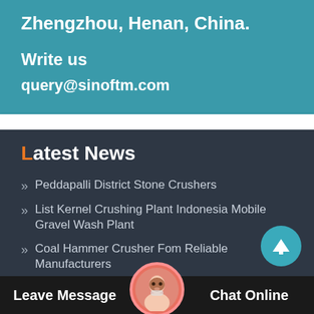Zhengzhou, Henan, China.
Write us
query@sinoftm.com
Latest News
Peddapalli District Stone Crushers
List Kernel Crushing Plant Indonesia Mobile Gravel Wash Plant
Coal Hammer Crusher Fom Reliable Manufacturers
Komplet Mini Crusher For  et Mini Crushers
Leave Message
Chat Online